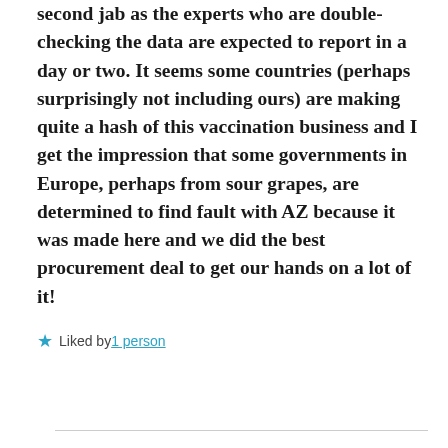second jab as the experts who are double-checking the data are expected to report in a day or two. It seems some countries (perhaps surprisingly not including ours) are making quite a hash of this vaccination business and I get the impression that some governments in Europe, perhaps from sour grapes, are determined to find fault with AZ because it was made here and we did the best procurement deal to get our hands on a lot of it!
Liked by 1 person
Reply